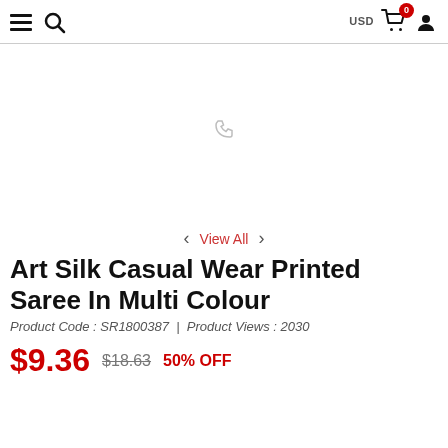USD 0 (cart) user icon navigation
[Figure (photo): Product image area for Art Silk Casual Wear Printed Saree - mostly blank/white with a faint phone icon visible]
< View All >
Art Silk Casual Wear Printed Saree In Multi Colour
Product Code : SR1800387  |  Product Views : 2030
$9.36  $18.63  50% OFF